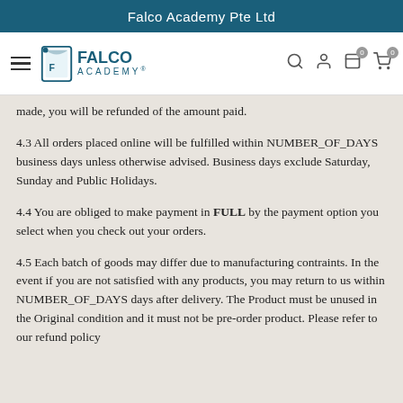Falco Academy Pte Ltd
[Figure (logo): Falco Academy logo with hamburger menu and navigation icons (search, user, wishlist, cart with 0 badges)]
made, you will be refunded of the amount paid.
4.3 All orders placed online will be fulfilled within NUMBER_OF_DAYS business days unless otherwise advised. Business days exclude Saturday, Sunday and Public Holidays.
4.4 You are obliged to make payment in FULL by the payment option you select when you check out your orders.
4.5 Each batch of goods may differ due to manufacturing contraints. In the event if you are not satisfied with any products, you may return to us within NUMBER_OF_DAYS days after delivery. The Product must be unused in the Original condition and it must not be pre-order product. Please refer to our refund policy